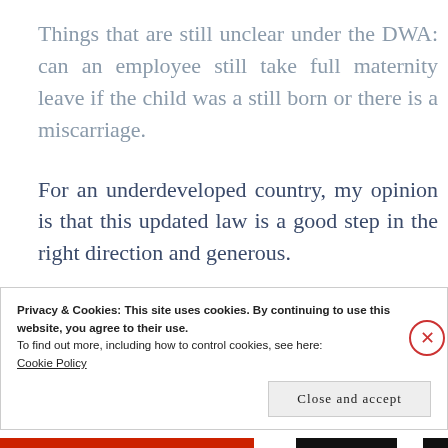Things that are still unclear under the DWA: can an employee still take full maternity leave if the child was a still born or there is a miscarriage.
For an underdeveloped country, my opinion is that this updated law is a good step in the right direction and generous.
Privacy & Cookies: This site uses cookies. By continuing to use this website, you agree to their use.
To find out more, including how to control cookies, see here:
Cookie Policy